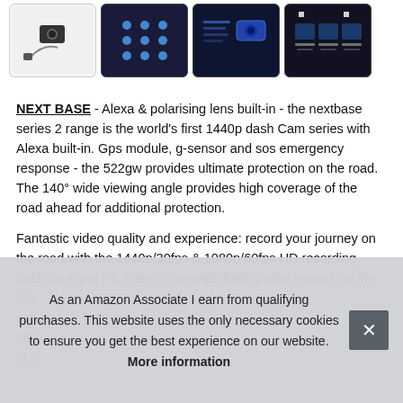[Figure (photo): Row of four product thumbnail images showing a dash cam and accessories]
NEXT BASE - Alexa & polarising lens built-in - the nextbase series 2 range is the world's first 1440p dash Cam series with Alexa built-in. Gps module, g-sensor and sos emergency response - the 522gw provides ultimate protection on the road. The 140° wide viewing angle provides high coverage of the road ahead for additional protection.
Fantastic video quality and experience: record your journey on the road with the 1440p/30fps & 1080p/60fps HD recording dash cam and F1. 6 lens to provide high quality images on the road acc allow of y
As an Amazon Associate I earn from qualifying purchases. This website uses the only necessary cookies to ensure you get the best experience on our website. More information